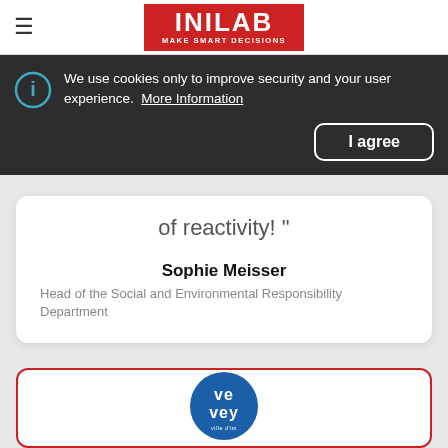[Figure (logo): INILAB logo — red background with white bold text INILAB and subtitle MAKE SMART DECISIONS]
We use cookies only to improve security and your user experience.  More Information
I agree
of reactivity! "
Sophie Meisser
Head of the Social and Environmental Responsibility Department
[Figure (logo): Vevey ville d'im circular logo — blue circle with white ve/vey text and small subtitle]